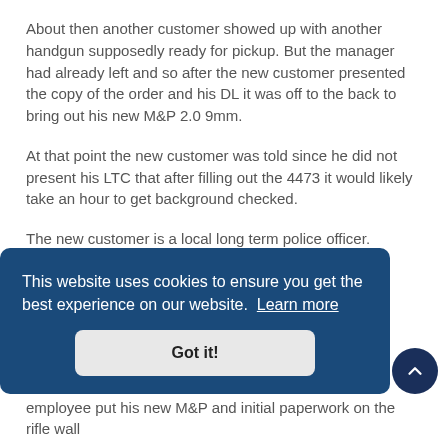About then another customer showed up with another handgun supposedly ready for pickup. But the manager had already left and so after the new customer presented the copy of the order and his DL it was off to the back to bring out his new M&P 2.0 9mm.
At that point the new customer was told since he did not present his LTC that after filling out the 4473 it would likely take an hour to get background checked.
The new customer is a local long term police officer.
That doesn't count.
[Figure (screenshot): Cookie consent banner with dark blue background reading 'This website uses cookies to ensure you get the best experience on our website. Learn more' and a 'Got it!' button. Partially obscures underlying text.]
employee put his new M&P and initial paperwork on the rifle wall